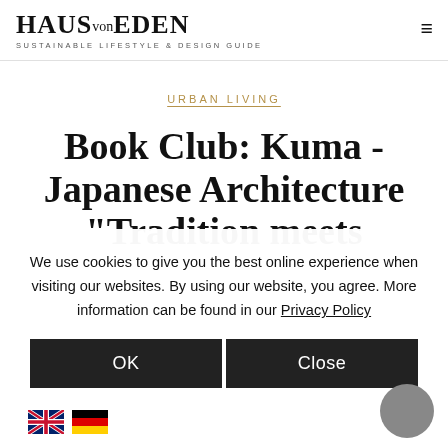HAUS von EDEN — SUSTAINABLE LIFESTYLE & DESIGN GUIDE
URBAN LIVING
Book Club: Kuma - Japanese Architecture "Tradition meets
We use cookies to give you the best online experience when visiting our websites. By using our website, you agree. More information can be found in our Privacy Policy
OK | Close